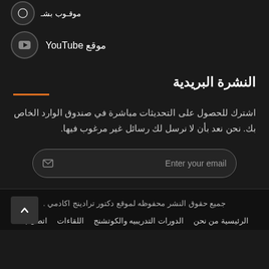موقع YouTube
النشرة البريدية
اشترك للحصول على التحديثات مباشرة في صندوق الوارد الخاص بك. نحن نعد بأن لا نرسل لك رسائل غير مرغوب فيها.
Enter your email
جميع حقوق النشر محفوظه لموقع دكتور ترادينج اكادمي .
الرئيسية من نحن
الدورات التدريبيه والكوتشنج
اللقاءات
اتصل بنا